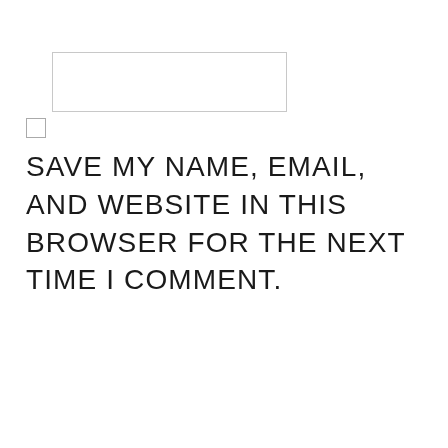[Figure (screenshot): Empty text input field with light gray border]
[Figure (screenshot): Unchecked checkbox]
SAVE MY NAME, EMAIL, AND WEBSITE IN THIS BROWSER FOR THE NEXT TIME I COMMENT.
[Figure (screenshot): hCaptcha widget with checkbox labeled 'I am human' and hCaptcha logo with Privacy and Terms links]
POST COMMENT